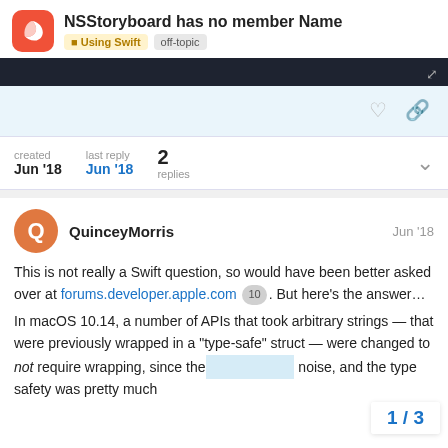NSStoryboard has no member Name
Using Swift   off-topic
[Figure (screenshot): Dark header image bar with expand icon]
created Jun '18  last reply Jun '18  2 replies
QuinceyMorris  Jun '18
This is not really a Swift question, so would have been better asked over at forums.developer.apple.com 10 . But here's the answer...

In macOS 10.14, a number of APIs that took arbitrary strings — that were previously wrapped in a "type-safe" struct — were changed to not require wrapping, since the noise, and the type safety was pretty much
1 / 3